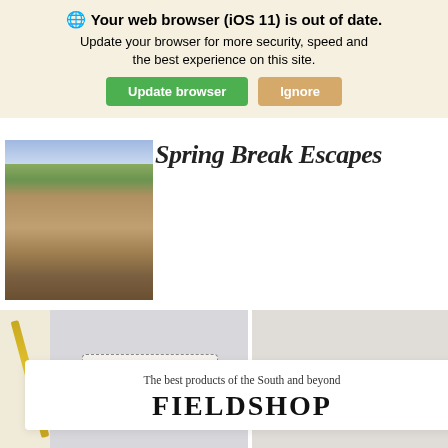🌐 Your web browser (iOS 11) is out of date. Update your browser for more security, speed and the best experience on this site. [Update browser] [Ignore]
[Figure (photo): Garden path with bluebonnets and a house in the background]
Spring Break Escapes
[Figure (photo): Sea Salt & Vinegar Caramels package and copper bar strainer product images]
The best products of the South and beyond
FIELDSHOP